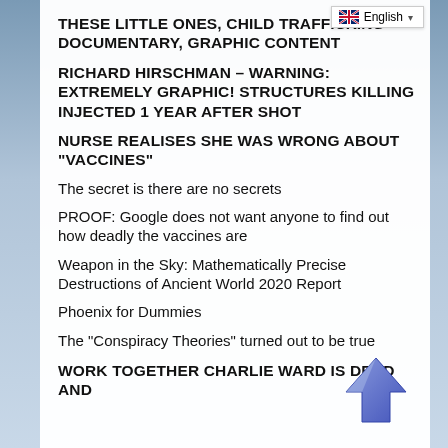[Figure (screenshot): Language selector bar showing English flag and 'English' text with dropdown arrow]
THESE LITTLE ONES, CHILD TRAFFICKING DOCUMENTARY, GRAPHIC CONTENT
RICHARD HIRSCHMAN – WARNING: EXTREMELY GRAPHIC! STRUCTURES KILLING INJECTED 1 YEAR AFTER SHOT
NURSE REALISES SHE WAS WRONG ABOUT "VACCINES"
The secret is there are no secrets
PROOF: Google does not want anyone to find out how deadly the vaccines are
Weapon in the Sky: Mathematically Precise Destructions of Ancient World 2020 Report
Phoenix for Dummies
The “Conspiracy Theories” turned out to be true
WORK TOGETHER CHARLIE WARD IS DEAD AND
[Figure (illustration): Blue upward-pointing arrow icon]